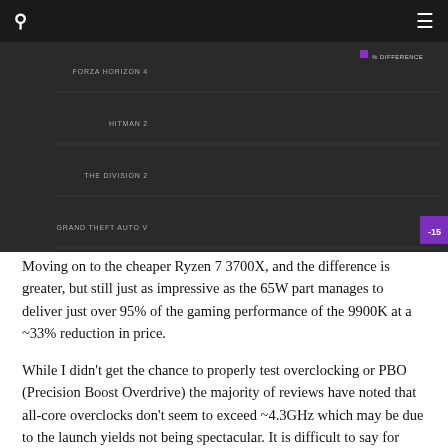[Figure (bar-chart): % Difference]
Moving on to the cheaper Ryzen 7 3700X, and the difference is greater, but still just as impressive as the 65W part manages to deliver just over 95% of the gaming performance of the 9900K at a ~33% reduction in price.
While I didn't get the chance to properly test overclocking or PBO (Precision Boost Overdrive) the majority of reviews have noted that all-core overclocks don't seem to exceed ~4.3GHz which may be due to the launch yields not being spectacular. It is difficult to say for sure at this point and we'll likely know